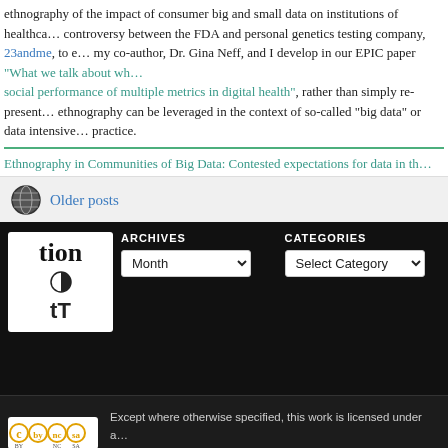ethnography of the impact of consumer big and small data on institutions of healthcare... controversy between the FDA and personal genetics testing company, 23andme, to e... my co-author, Dr. Gina Neff, and I develop in our EPIC paper "What we talk about wh... social performance of multiple metrics in digital health", rather than simply re-present... ethnography can be leveraged in the context of so-called "big data" or data intensive... practice.
Ethnography in Communities of Big Data: Contested expectations for data in th...
Older posts
tion
ARCHIVES
CATEGORIES
Select Month
Select Category
Except where otherwise specified, this work is licensed under a... Please inquire if you are interested in commercial use.